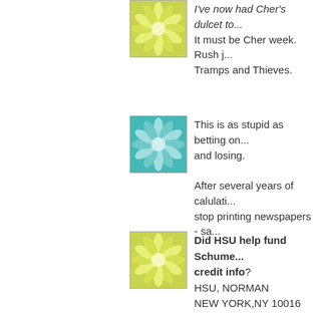[Figure (illustration): Green flower mandala avatar icon]
I've now had Cher's dulcet to... It must be Cher week. Rush j... Tramps and Thieves.
[Figure (illustration): Teal/cyan flower mandala avatar icon]
This is as stupid as betting on... and losing. After several years of calulati... stop printing newspapers - sa...
[Figure (illustration): Green flower mandala avatar icon]
Did HSU help fund Schume... credit info? HSU, NORMAN NEW YORK,NY 10016 COOL PLANETS 6/9/2005 $26,700 Democratic Senatorial Camp... HSU, NORMAN